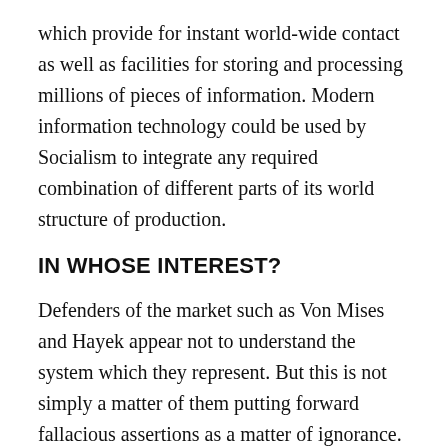which provide for instant world-wide contact as well as facilities for storing and processing millions of pieces of information. Modern information technology could be used by Socialism to integrate any required combination of different parts of its world structure of production.
IN WHOSE INTEREST?
Defenders of the market such as Von Mises and Hayek appear not to understand the system which they represent. But this is not simply a matter of them putting forward fallacious assertions as a matter of ignorance. Their position is based on a crude defence of the privileged interests which do benefit from capitalism. In arguing in favour of these interests, it appears that any nonsense which defies the reality of experience will do. Their more honest position would